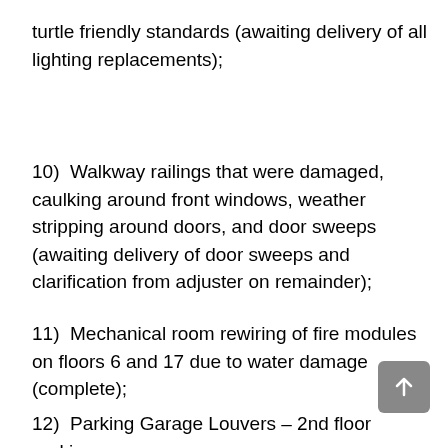turtle friendly standards (awaiting delivery of all lighting replacements);
10)  Walkway railings that were damaged, caulking around front windows, weather stripping around doors, and door sweeps (awaiting delivery of door sweeps and clarification from adjuster on remainder);
11)  Mechanical room rewiring of fire modules on floors 6 and 17 due to water damage (complete);
12)  Parking Garage Louvers – 2nd floor parking garage